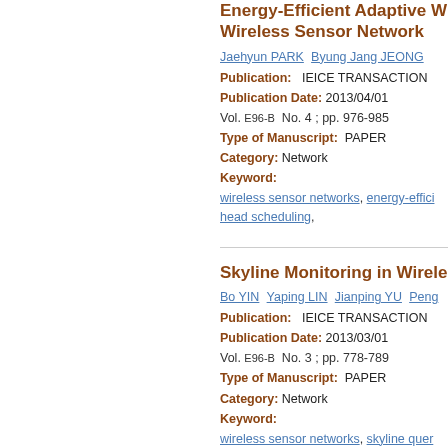Energy-Efficient Adaptive Wireless Sensor Network
Jaehyun PARK  Byung Jang JEONG
Publication:   IEICE TRANSACTION
Publication Date: 2013/04/01
Vol. E96-B  No. 4 ; pp. 976-985
Type of Manuscript:  PAPER
Category: Network
Keyword:
wireless sensor networks, energy-effici... head scheduling,
Skyline Monitoring in Wirele...
Bo YIN  Yaping LIN  Jianping YU  Peng...
Publication:   IEICE TRANSACTION
Publication Date: 2013/03/01
Vol. E96-B  No. 3 ; pp. 778-789
Type of Manuscript:  PAPER
Category: Network
Keyword:
wireless sensor networks, skyline quer...